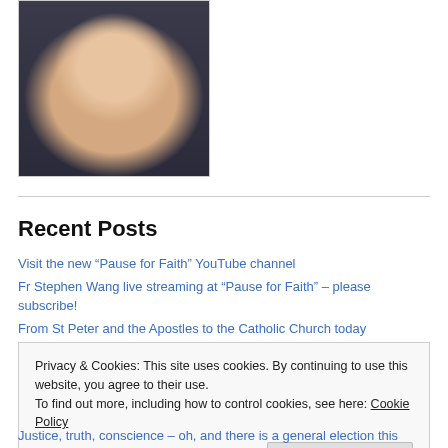[Figure (photo): Headshot photo of a young man smiling, with light hair, wearing a dark shirt, against a light background]
Recent Posts
Visit the new “Pause for Faith” YouTube channel
Fr Stephen Wang live streaming at “Pause for Faith” – please subscribe!
From St Peter and the Apostles to the Catholic Church today
The heroism and love of Franz and Fani Jägerstätter. A homily by Fr Stephen Wang
Privacy & Cookies: This site uses cookies. By continuing to use this website, you agree to their use.
To find out more, including how to control cookies, see here: Cookie Policy
Justice, truth, conscience – oh, and there is a general election this